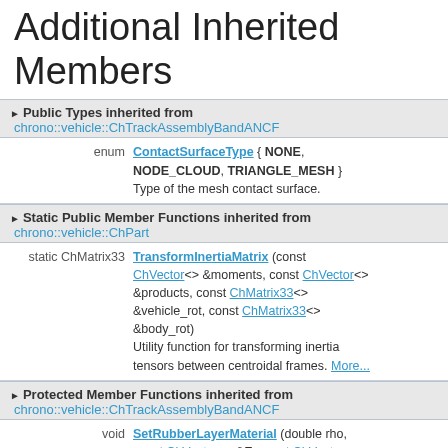Additional Inherited Members
Public Types inherited from chrono::vehicle::ChTrackAssemblyBandANCF
enum ContactSurfaceType { NONE, NODE_CLOUD, TRIANGLE_MESH } Type of the mesh contact surface.
Static Public Member Functions inherited from chrono::vehicle::ChPart
static ChMatrix33 TransformInertiaMatrix (const ChVector<> &moments, const ChVector<> &products, const ChMatrix33<> &vehicle_rot, const ChMatrix33<> &body_rot) Utility function for transforming inertia tensors between centroidal frames. More...
Protected Member Functions inherited from chrono::vehicle::ChTrackAssemblyBandANCF
void SetRubberLayerMaterial (double rho, const ChVector<> &E, const ChVector<> &nu, const ChVector<> &G) Set material properties of the rubber layers (isotropic material). More...